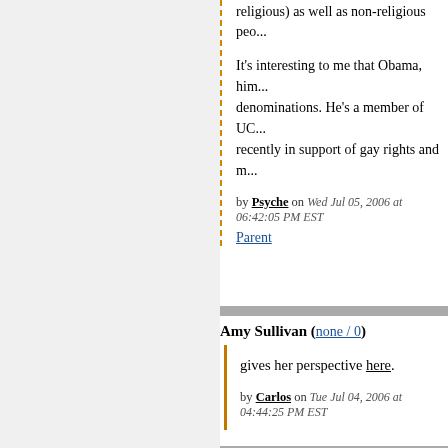religious) as well as non-religious peo...
It's interesting to me that Obama, him... denominations. He's a member of UC... recently in support of gay rights and m...
by Psyche on Wed Jul 05, 2006 at 06:42:05 PM EST
Parent
Amy Sullivan (none / 0)
gives her perspective here.
by Carlos on Tue Jul 04, 2006 at 04:44:25 PM EST
Letting Obama know (none / 0)
Perhaps each of us should seriously consider...